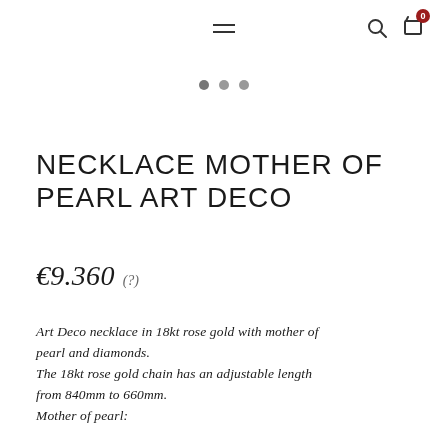Navigation header with hamburger menu, search icon, and cart icon with badge 0
[Figure (other): Three dot pagination indicator, with the leftmost dot slightly darker]
NECKLACE MOTHER OF PEARL ART DECO
€9.360  (?)
Art Deco necklace in 18kt rose gold with mother of pearl and diamonds.
The 18kt rose gold chain has an adjustable length from 840mm to 660mm.
Mother of pearl: